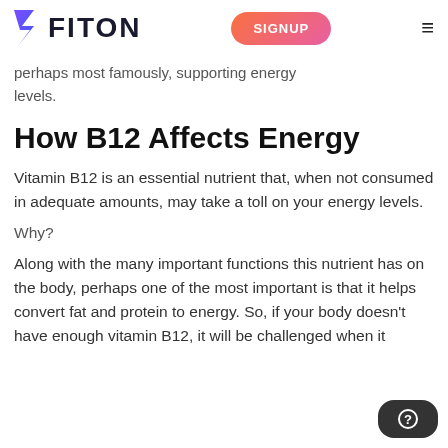FITON | SIGNUP
perhaps most famously, supporting energy levels.
How B12 Affects Energy
Vitamin B12 is an essential nutrient that, when not consumed in adequate amounts, may take a toll on your energy levels.
Why?
Along with the many important functions this nutrient has on the body, perhaps one of the most important is that it helps convert fat and protein to energy. So, if your body doesn't have enough vitamin B12, it will be challenged when it